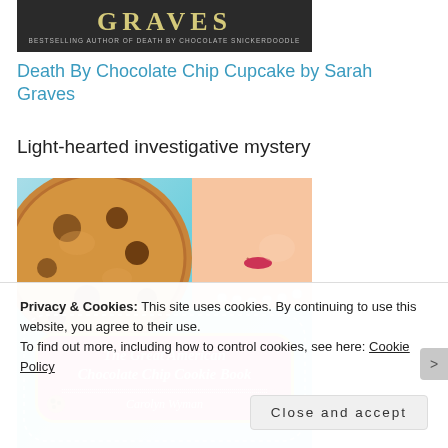[Figure (photo): Top portion of book cover for Death By Chocolate Chip Cupcake by Sarah Graves showing title text in gold letters on dark background with subtitle 'Bestselling Author of DEATH BY CHOCOLATE SNICKERDOODLE']
Death By Chocolate Chip Cupcake by Sarah Graves
Light-hearted investigative mystery
[Figure (photo): Book cover for 'The Great American Chocolate Chip Cookie Book' by Carolyn Wyman, showing a large chocolate chip cookie on the left, a woman's smiling face with pearl necklace on the right, and a pink decorative banner with the title in the center, against a light blue background]
Privacy & Cookies: This site uses cookies. By continuing to use this website, you agree to their use.
To find out more, including how to control cookies, see here: Cookie Policy
Close and accept